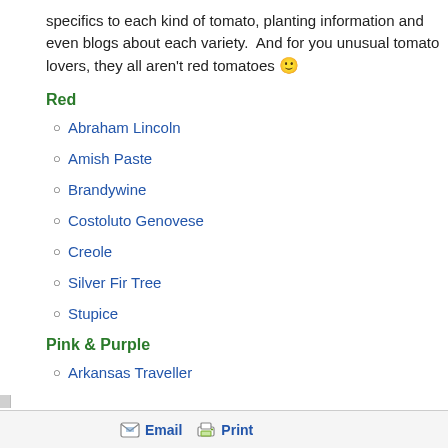specifics to each kind of tomato, planting information and even blogs about each variety.  And for you unusual tomato lovers, they all aren't red tomatoes 🙂
Red
Abraham Lincoln
Amish Paste
Brandywine
Costoluto Genovese
Creole
Silver Fir Tree
Stupice
Pink & Purple
Arkansas Traveller
Email   Print